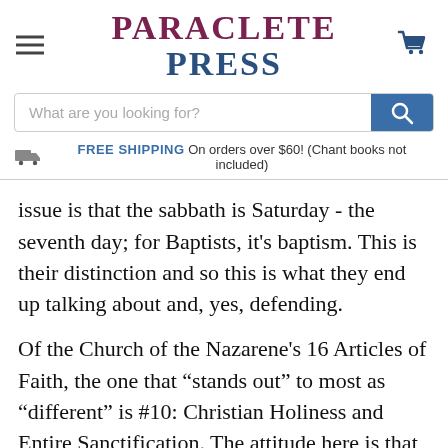PARACLETE PRESS
FREE SHIPPING On orders over $60! (Chant books not included)
issue is that the sabbath is Saturday - the seventh day; for Baptists, it’s baptism. This is their distinction and so this is what they end up talking about and, yes, defending.
Of the Church of the Nazarene’s 16 Articles of Faith, the one that “stands out” to most as “different” is #10: Christian Holiness and Entire Sanctification. The attitude here is that the